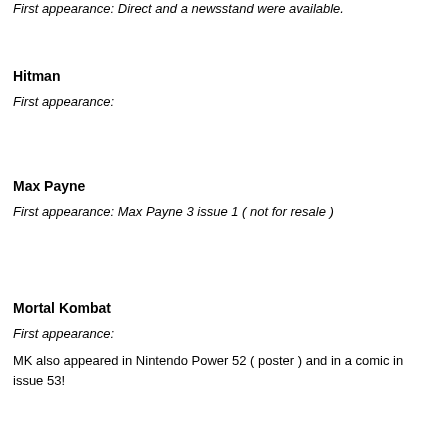First appearance: Direct and a newsstand were available.
Hitman
First appearance:
Max Payne
First appearance: Max Payne 3 issue 1 ( not for resale  )
Mortal Kombat
First appearance:
MK also appeared in Nintendo Power 52 ( poster ) and in a comic in issue 53!